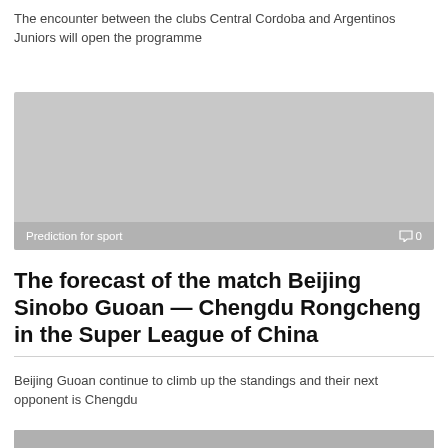The encounter between the clubs Central Cordoba and Argentinos Juniors will open the programme
[Figure (photo): Prediction for sport image card with comment count 0]
The forecast of the match Beijing Sinobo Guoan — Chengdu Rongcheng in the Super League of China
Beijing Guoan continue to climb up the standings and their next opponent is Chengdu
[Figure (photo): Football match photo showing players in action]